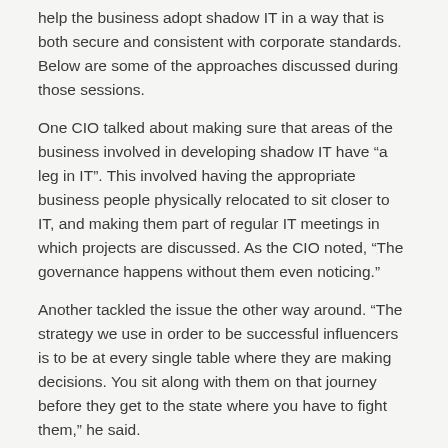help the business adopt shadow IT in a way that is both secure and consistent with corporate standards. Below are some of the approaches discussed during those sessions.
One CIO talked about making sure that areas of the business involved in developing shadow IT have “a leg in IT”. This involved having the appropriate business people physically relocated to sit closer to IT, and making them part of regular IT meetings in which projects are discussed. As the CIO noted, “The governance happens without them even noticing.”
Another tackled the issue the other way around. “The strategy we use in order to be successful influencers is to be at every single table where they are making decisions. You sit along with them on that journey before they get to the state where you have to fight them,” he said.
A third CIO pointed out that regardless of the